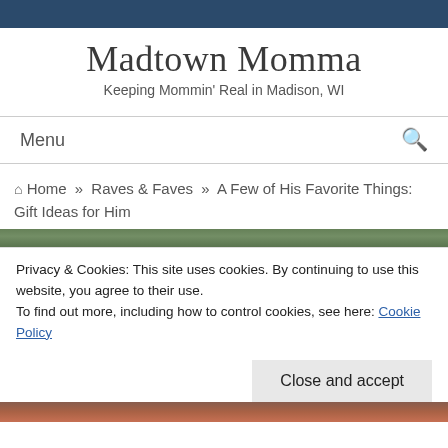Madtown Momma
Keeping Mommin' Real in Madison, WI
Menu
Home » Raves & Faves » A Few of His Favorite Things: Gift Ideas for Him
Privacy & Cookies: This site uses cookies. By continuing to use this website, you agree to their use.
To find out more, including how to control cookies, see here: Cookie Policy
Close and accept